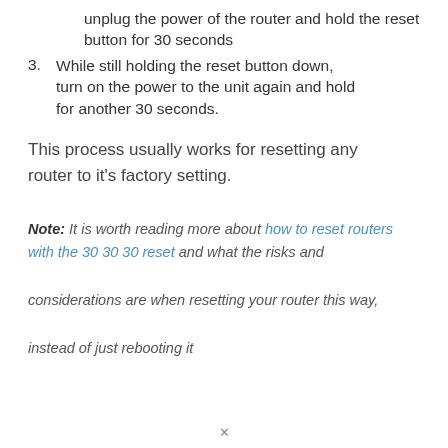unplug the power of the router and hold the reset button for 30 seconds
3. While still holding the reset button down, turn on the power to the unit again and hold for another 30 seconds.
This process usually works for resetting any router to it's factory setting.
Note: It is worth reading more about how to reset routers with the 30 30 30 reset and what the risks and considerations are when resetting your router this way, instead of just rebooting it